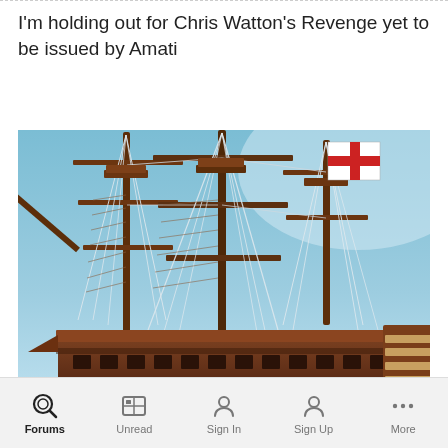I'm holding out for Chris Watton's Revenge yet to be issued by Amati
[Figure (photo): Model tall ship with three masts, complex rigging and rope lines, wooden hull with decorative details, English St George's Cross flag flying from the main mast, photographed against a clear blue sky.]
Forums | Unread | Sign In | Sign Up | More